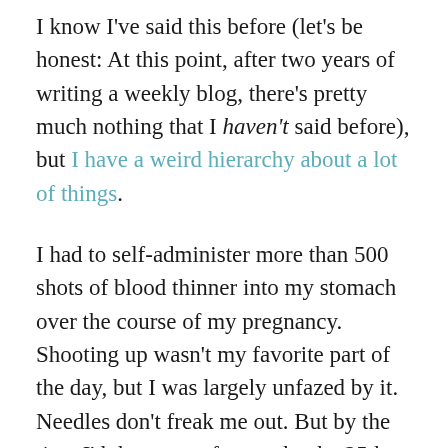I know I've said this before (let's be honest: At this point, after two years of writing a weekly blog, there's pretty much nothing that I haven't said before), but I have a weird hierarchy about a lot of things.
I had to self-administer more than 500 shots of blood thinner into my stomach over the course of my pregnancy. Shooting up wasn't my favorite part of the day, but I was largely unfazed by it. Needles don't freak me out. But by the time I'd thrown up for maybe the 25th time, I was in my OB's office begging for antinausea meds. Needles, fine. Vomiting, no.